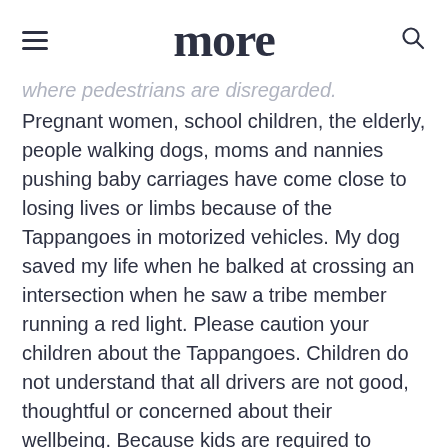more
where pedestrians are disregarded. Pregnant women, school children, the elderly, people walking dogs, moms and nannies pushing baby carriages have come close to losing lives or limbs because of the Tappangoes in motorized vehicles. My dog saved my life when he balked at crossing an intersection when he saw a tribe member running a red light. Please caution your children about the Tappangoes. Children do not understand that all drivers are not good, thoughtful or concerned about their wellbeing. Because kids are required to follow the rules, they think grownups will too; sadly, they don't. Use the suggestions below to help teach your children to be safe. You can't be too cautious. Below are the